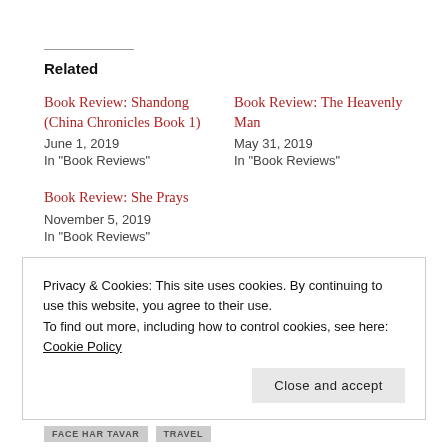Related
Book Review: Shandong (China Chronicles Book 1)
June 1, 2019
In "Book Reviews"
Book Review: The Heavenly Man
May 31, 2019
In "Book Reviews"
Book Review: She Prays
November 5, 2019
In "Book Reviews"
Privacy & Cookies: This site uses cookies. By continuing to use this website, you agree to their use.
To find out more, including how to control cookies, see here: Cookie Policy
FACE har TAVAR   TRAVEL